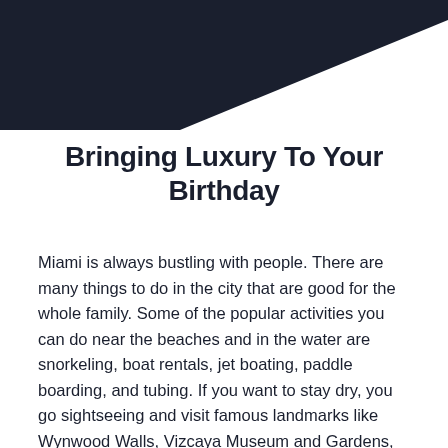[Figure (illustration): Dark navy/charcoal diagonal decorative banner in the top-left corner of the page, forming a triangular shape.]
Bringing Luxury To Your Birthday
Miami is always bustling with people. There are many things to do in the city that are good for the whole family. Some of the popular activities you can do near the beaches and in the water are snorkeling, boat rentals, jet boating, paddle boarding, and tubing. If you want to stay dry, you go sightseeing and visit famous landmarks like Wynwood Walls, Vizcaya Museum and Gardens, Zoo Miami, Bayside Marketplace, Miami Design District, and many more. There is no shortage of fun things to do in Miami, making it an ideal place where you can celebrate your birthday. Spend